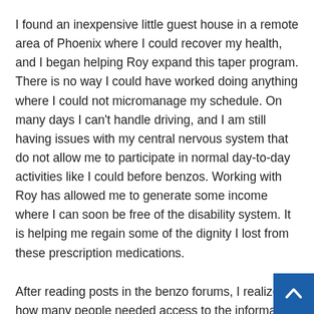I found an inexpensive little guest house in a remote area of Phoenix where I could recover my health, and I began helping Roy expand this taper program. There is no way I could have worked doing anything where I could not micromanage my schedule. On many days I can't handle driving, and I am still having issues with my central nervous system that do not allow me to participate in normal day-to-day activities like I could before benzos. Working with Roy has allowed me to generate some income where I can soon be free of the disability system. It is helping me regain some of the dignity I lost from these prescription medications.
After reading posts in the benzo forums, I realized how many people needed access to the information we provide in order to know how to come off of these medications with minimal withdrawal symptoms. I wanted to be able to help others with the knowledge I had gained about prescription